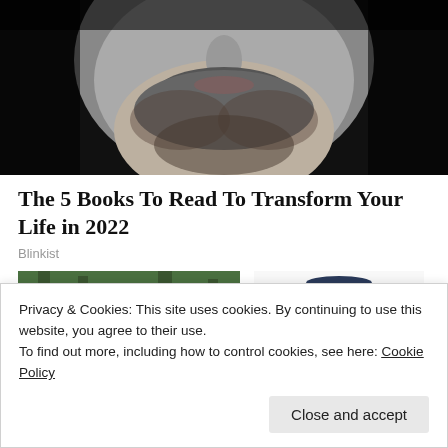[Figure (photo): Black and white close-up photo of a man's face, cropped showing from nose/mouth area with beard, partial face visible]
The 5 Books To Read To Transform Your Life in 2022
Blinkist
[Figure (photo): Photo of Camp Lejeune entrance sign on brick wall reading CAMP LEJEUNE HOME OF EXPEDITIONARY with trees in background and Marine Corps emblem]
[Figure (photo): Illustration/logo of Quaker Oats man - smiling figure with white hair and dark blue hat]
Privacy & Cookies: This site uses cookies. By continuing to use this website, you agree to their use.
To find out more, including how to control cookies, see here: Cookie Policy
Close and accept